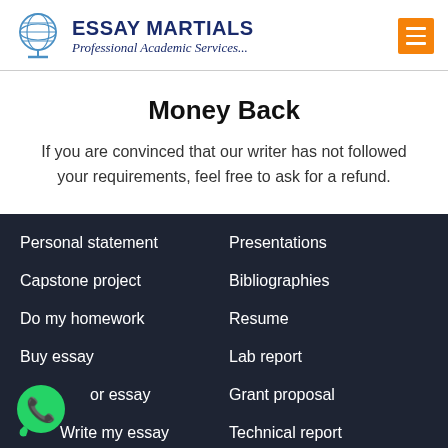ESSAY MARTIALS — Professional Academic Services...
Money Back
If you are convinced that our writer has not followed your requirements, feel free to ask for a refund.
Personal statement
Presentations
Capstone project
Bibliographies
Do my homework
Resume
Buy essay
Lab report
or essay
Grant proposal
Write my essay
Technical report